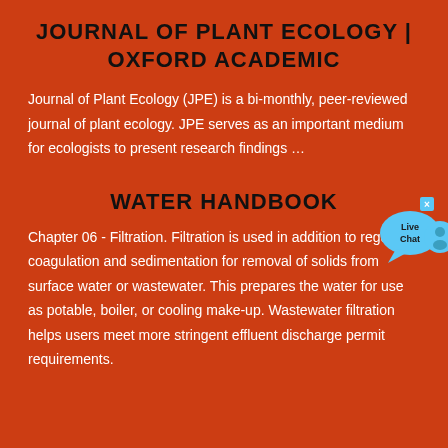JOURNAL OF PLANT ECOLOGY | OXFORD ACADEMIC
Journal of Plant Ecology (JPE) is a bi-monthly, peer-reviewed journal of plant ecology. JPE serves as an important medium for ecologists to present research findings …
[Figure (other): Live Chat button with speech bubble icon and close button in top-right corner]
WATER HANDBOOK
Chapter 06 - Filtration. Filtration is used in addition to regular coagulation and sedimentation for removal of solids from surface water or wastewater. This prepares the water for use as potable, boiler, or cooling make-up. Wastewater filtration helps users meet more stringent effluent discharge permit requirements.